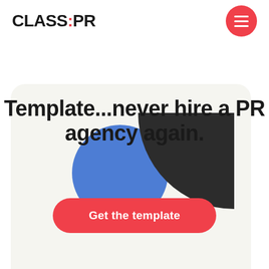CLASS:PR
Template...never hire a PR agency again.
Get the template
[Figure (illustration): Decorative geometric shapes: a blue circle overlapping a dark quarter-circle/pie shape on a light beige card background]